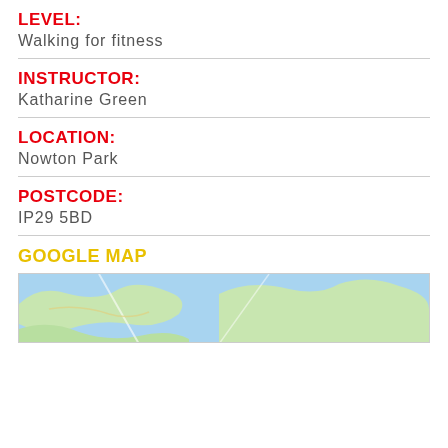LEVEL:
Walking for fitness
INSTRUCTOR:
Katharine Green
LOCATION:
Nowton Park
POSTCODE:
IP29 5BD
GOOGLE MAP
[Figure (map): Google Map showing Nowton Park area, IP29 5BD, with blue water/terrain and green land areas visible.]